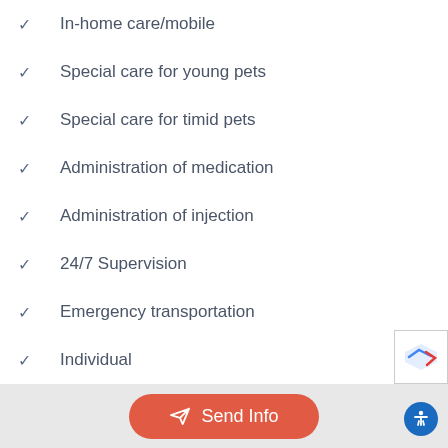In-home care/mobile
Special care for young pets
Special care for timid pets
Administration of medication
Administration of injection
24/7 Supervision
Emergency transportation
Individual
Puppy
In-home
24/7 Supervision
Emergency transportation
Send Info